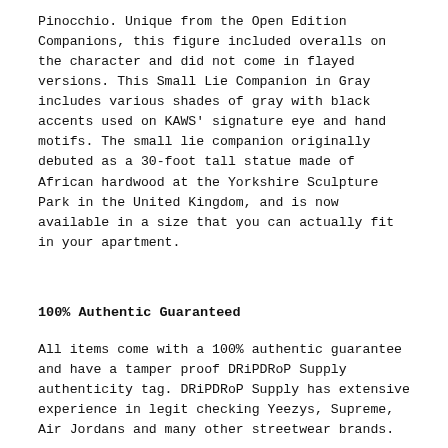Pinocchio. Unique from the Open Edition Companions, this figure included overalls on the character and did not come in flayed versions. This Small Lie Companion in Gray includes various shades of gray with black accents used on KAWS' signature eye and hand motifs. The small lie companion originally debuted as a 30-foot tall statue made of African hardwood at the Yorkshire Sculpture Park in the United Kingdom, and is now available in a size that you can actually fit in your apartment.
100% Authentic Guaranteed
All items come with a 100% authentic guarantee and have a tamper proof DRiPDRoP Supply authenticity tag. DRiPDRoP Supply has extensive experience in legit checking Yeezys, Supreme, Air Jordans and many other streetwear brands.
RETURNS